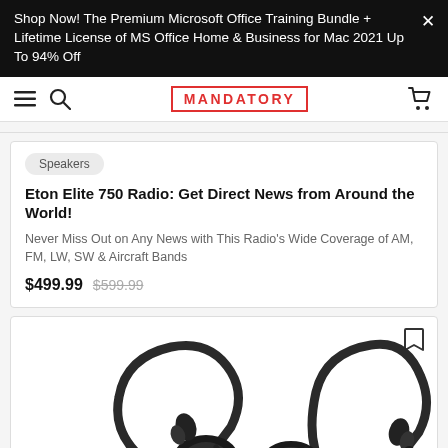Shop Now! The Premium Microsoft Office Training Bundle + Lifetime License of MS Office Home & Business for Mac 2021 Up To 94% Off
[Figure (logo): MANDATORY website logo in red border rectangle, with hamburger menu, search icon, and cart icon in navigation bar]
Speakers
Eton Elite 750 Radio: Get Direct News from Around the World!
Never Miss Out on Any News with This Radio's Wide Coverage of AM, FM, LW, SW & Aircraft Bands
$499.99  $599.99
[Figure (photo): Two black wireless sport earbuds/headphones with ear hooks shown from front, product listing image]